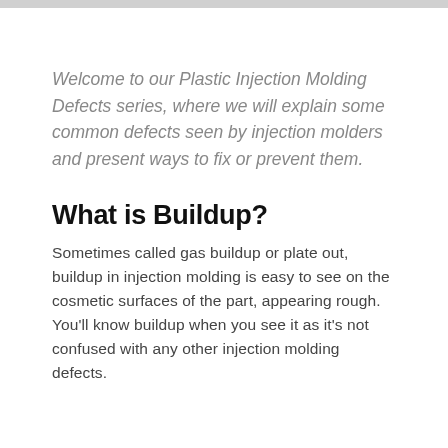Welcome to our Plastic Injection Molding Defects series, where we will explain some common defects seen by injection molders and present ways to fix or prevent them.
What is Buildup?
Sometimes called gas buildup or plate out, buildup in injection molding is easy to see on the cosmetic surfaces of the part, appearing rough. You'll know buildup when you see it as it's not confused with any other injection molding defects.